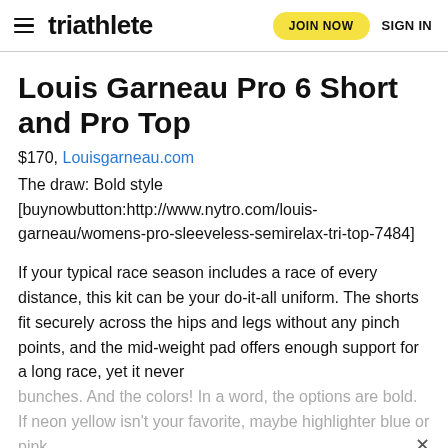triathlete | JOIN NOW | SIGN IN
Louis Garneau Pro 6 Short and Pro Top
$170, Louisgarneau.com
The draw: Bold style [buynowbutton:http://www.nytro.com/louis-garneau/womens-pro-sleeveless-semirelax-tri-top-7484]
If your typical race season includes a race of every distance, this kit can be your do-it-all uniform. The shorts fit securely across the hips and legs without any pinch points, and the mid-weight pad offers enough support for a long race, yet it never
bunches. And the colors! In a word, the options are bold. If neon yellow isn't your favorite, maybe highlighter blue or pink